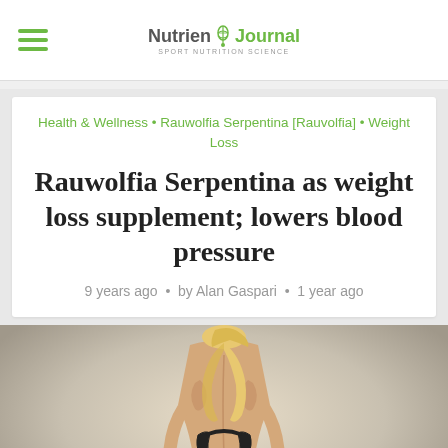Nutrient Journal
Health & Wellness • Rauwolfia Serpentina [Rauvolfia] • Weight Loss
Rauwolfia Serpentina as weight loss supplement; lowers blood pressure
9 years ago • by Alan Gaspari • 1 year ago
[Figure (photo): Fit blonde woman photographed from behind, wearing a black sports bra, against a light grey/beige gradient background]